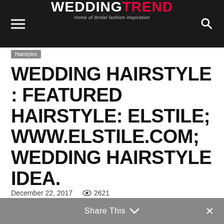WEDDINGTREND — Home of Bridal fashion inspiration
Hairstyles
WEDDING HAIRSTYLE : FEATURED HAIRSTYLE: ELSTILE; WWW.ELSTILE.COM; WEDDING HAIRSTYLE IDEA.
December 22, 2017    2621
Share This